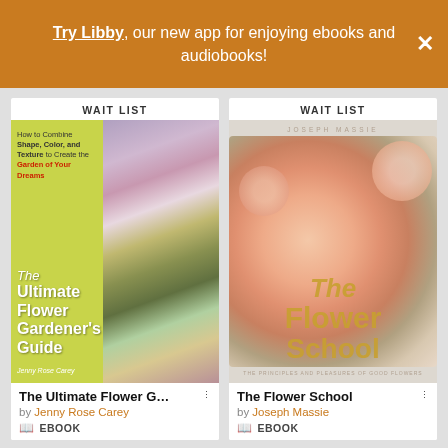Try Libby, our new app for enjoying ebooks and audiobooks!
WAIT LIST
The Ultimate Flower G...
by Jenny Rose Carey
EBOOK
WAIT LIST
The Flower School
by Joseph Massie
EBOOK